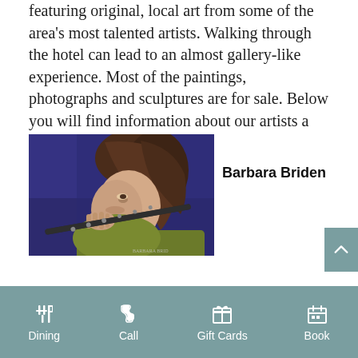featuring original, local art from some of the area's most talented artists. Walking through the hotel can lead to an almost gallery-like experience. Most of the paintings, photographs and sculptures are for sale. Below you will find information about our artists a sampling of their work.
[Figure (photo): Painting of a young girl with brown hair playing a flute, wearing an olive/yellow-green sweater, set against a blue background. Signed 'Barbara Brid...' in the lower right corner.]
Barbara Briden
Dining  Call  Gift Cards  Book